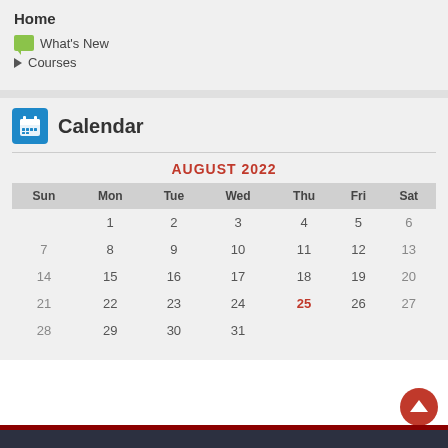Home
What's New
Courses
Calendar
| Sun | Mon | Tue | Wed | Thu | Fri | Sat |
| --- | --- | --- | --- | --- | --- | --- |
|  | 1 | 2 | 3 | 4 | 5 | 6 |
| 7 | 8 | 9 | 10 | 11 | 12 | 13 |
| 14 | 15 | 16 | 17 | 18 | 19 | 20 |
| 21 | 22 | 23 | 24 | 25 | 26 | 27 |
| 28 | 29 | 30 | 31 |  |  |  |